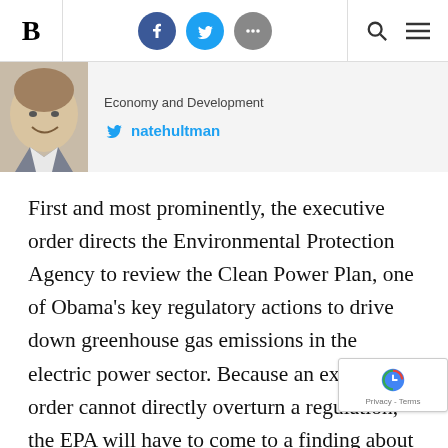B [logo] | Facebook | Twitter | More | Search | Menu
[Figure (photo): Circular headshot of author, male, smiling, light background]
Economy and Development
natehultman
First and most prominently, the executive order directs the Environmental Protection Agency to review the Clean Power Plan, one of Obama's key regulatory actions to drive down greenhouse gas emissions in the electric power sector. Because an executive order cannot directly overturn a regulation, the EPA will have to come to a finding about whether the CPP should be revised or repealed. Technically, the EPA does not have a...